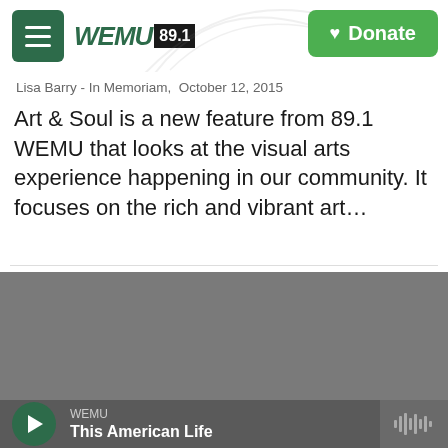WEMU 89.1 — Donate
Lisa Barry - In Memoriam, October 12, 2015
Art & Soul is a new feature from 89.1 WEMU that looks at the visual arts experience happening in our community. It focuses on the rich and vibrant art…
LISTEN • 11:31
[Figure (logo): WEMU 89.1 logo in green and black on gray background]
WEMU
This American Life